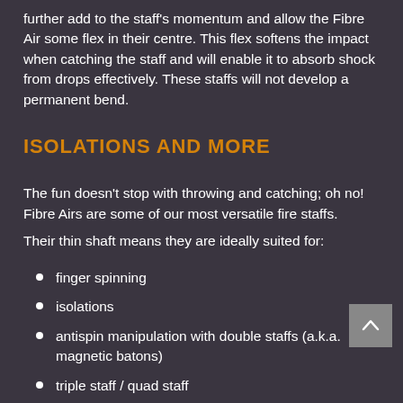further add to the staff's momentum and allow the Fibre Air some flex in their centre. This flex softens the impact when catching the staff and will enable it to absorb shock from drops effectively. These staffs will not develop a permanent bend.
ISOLATIONS AND MORE
The fun doesn't stop with throwing and catching; oh no! Fibre Airs are some of our most versatile fire staffs.
Their thin shaft means they are ideally suited for:
finger spinning
isolations
antispin manipulation with double staffs (a.k.a. magnetic batons)
triple staff / quad staff